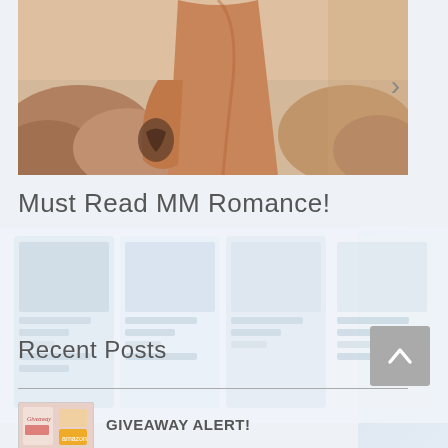[Figure (photo): A shirtless muscular man with a tattoo on his forearm, photographed outdoors against a rocky desert landscape background. A right-pointing chevron arrow is visible on the right side of the image.]
Must Read MM Romance!
[Figure (other): A faint grid of book cover cards in light blue/grey tones, suggesting a collection of MM romance books.]
Recent Posts
GIVEAWAY ALERT!